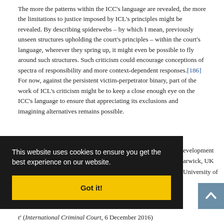The more the patterns within the ICC's language are revealed, the more the limitations to justice imposed by ICL's principles might be revealed. By describing spiderwebs – by which I mean, previously unseen structures upholding the court's principles – within the court's language, wherever they spring up, it might even be possible to fly around such structures. Such criticism could encourage conceptions of spectra of responsibility and more context-dependent responses.[186] For now, against the persistent victim-perpetrator binary, part of the work of ICL's criticism might be to keep a close enough eye on the ICC's language to ensure that appreciating its exclusions and imagining alternatives remains possible.
This website uses cookies to ensure you get the best experience on our website.
Got it!
evelopment arwick, UK University of
r' (International Criminal Court, 6 December 2016)